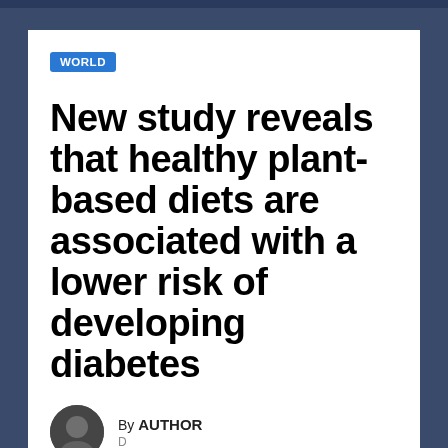WORLD
New study reveals that healthy plant-based diets are associated with a lower risk of developing diabetes
By AUTHOR